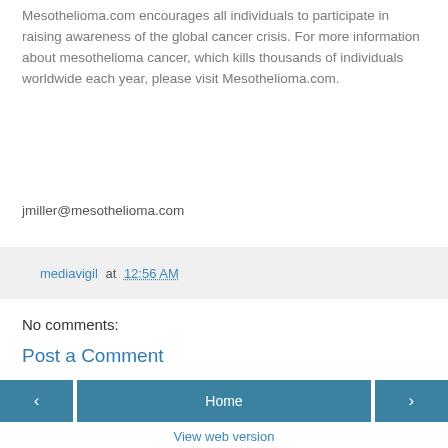Mesothelioma.com encourages all individuals to participate in raising awareness of the global cancer crisis. For more information about mesothelioma cancer, which kills thousands of individuals worldwide each year, please visit Mesothelioma.com.
jmiller@mesothelioma.com
mediavigil at 12:56 AM
No comments:
Post a Comment
Home
View web version
Powered by Blogger.